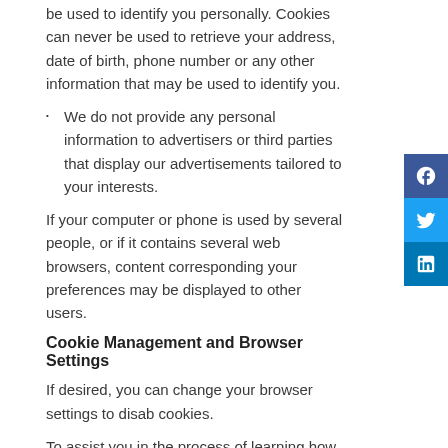be used to identify you personally. Cookies can never be used to retrieve your address, date of birth, phone number or any other information that may be used to identify you.
We do not provide any personal information to advertisers or third parties that display our advertisements tailored to your interests.
If your computer or phone is used by several people, or if it contains several web browsers, content corresponding your preferences may be displayed to other users.
Cookie Management and Browser Settings
If desired, you can change your browser settings to disab cookies.
To assist you in the process of learning how to block new cookies, receiving notification of new cookies or disabling cookies, we have provided links to the “Help” section of some of the most popular web browsers:
Internet Explorer™ https://support.microsoft.com/en-us/help/17442/windows-internet-explorer-delete-